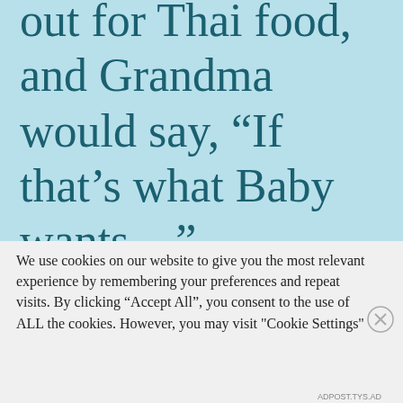out for Thai food, and Grandma would say, “If that’s what Baby wants…”
We use cookies on our website to give you the most relevant experience by remembering your preferences and repeat visits. By clicking “Accept All”, you consent to the use of ALL the cookies. However, you may visit "Cookie Settings" to provide a controlled consent
Advertisements
[Figure (infographic): Dark banner advertisement: tree/person icon in white circle on left, teal text reading 'Turn your blog into a money-making online course.' with white right arrow on right]